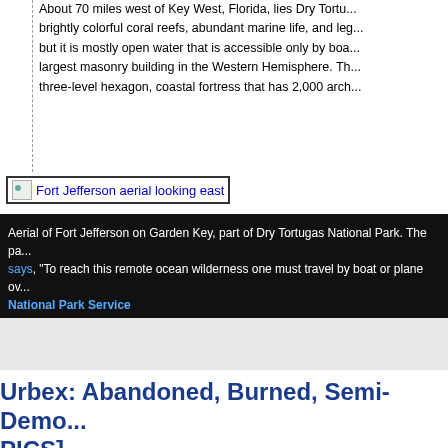About 70 miles west of Key West, Florida, lies Dry Tortu... brightly colorful coral reefs, abundant marine life, and leg... but it is mostly open water that is accessible only by boa... largest masonry building in the Western Hemisphere. Th... three-level hexagon, coastal fortress that has 2,000 arch...
[Figure (photo): Fort Jefferson aerial looking east — linked image with border]
Aerial of Fort Jefferson on Garden Key, part of Dry Tortugas National Park. The pa... says, "To reach this remote ocean wilderness one must travel by boat or plane ov... National Park Service
Urbex: Abandoned, Burned, Semi-Demo... PICS]
3 comments
June 16th, 2012
Tagged abandoned, abandoned Emge Food Processin... Foods, Fort Branch, urban exploration, urbex, urbex E...
Emge Foods Plant in Fort Branch, Indiana, is listed as "B... looking for urban decay, but discovered a previously burn... and even a bit of saving ... urban exploration is after all...